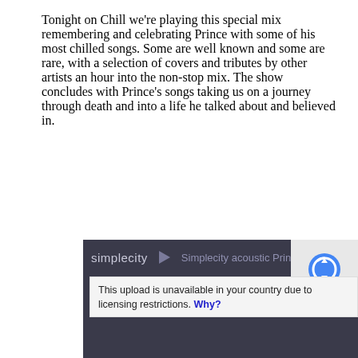Tonight on Chill we're playing this special mix remembering and celebrating Prince with some of his most chilled songs. Some are well known and some are rare, with a selection of covers and tributes by other artists an hour into the non-stop mix. The show concludes with Prince's songs taking us on a journey through death and into a life he talked about and believed in.
[Figure (screenshot): Embedded audio player from Simplecity showing 'Simplecity acoustic Prince t...' with a notice: 'This upload is unavailable in your country due to licensing restrictions. Why?' alongside a reCAPTCHA widget.]